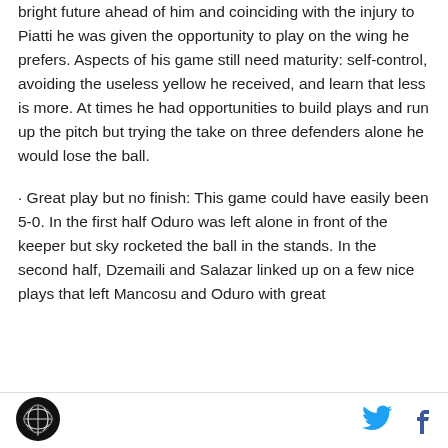bright future ahead of him and coinciding with the injury to Piatti he was given the opportunity to play on the wing he prefers. Aspects of his game still need maturity: self-control, avoiding the useless yellow he received, and learn that less is more. At times he had opportunities to build plays and run up the pitch but trying the take on three defenders alone he would lose the ball.
· Great play but no finish: This game could have easily been 5-0. In the first half Oduro was left alone in front of the keeper but sky rocketed the ball in the stands. In the second half, Dzemaili and Salazar linked up on a few nice plays that left Mancosu and Oduro with great
[Figure (logo): Circular logo with a globe/planet icon on dark background]
[Figure (logo): Twitter bird icon in cyan/blue]
[Figure (logo): Facebook 'f' icon in dark blue]